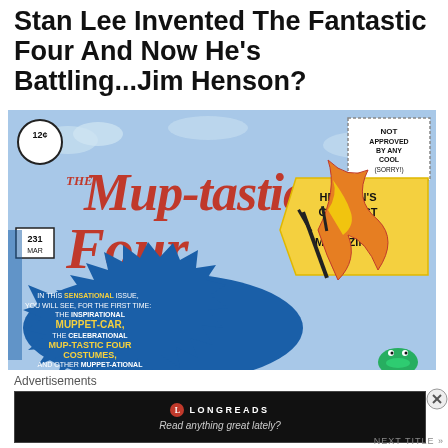Stan Lee Invented The Fantastic Four And Now He's Battling...Jim Henson?
[Figure (illustration): Comic book cover parody titled 'The Mup-tastic Four' — styled as a Fantastic Four Marvel comic. Shows '12c' price in top left, issue '231 Mar' in bottom left box, 'NOT APPROVED BY ANY COOL (SORRY!)' stamp in top right. Title text in large red letters: 'THE Mup-tastic Four'. Yellow speech bubble reads 'HENSON'S GREATEST COMICS MAGAZINE!!'. Blue starburst caption reads: 'IN THIS SENSATIONAL ISSUE, YOU WILL SEE, FOR THE FIRST TIME: THE INSPIRATIONAL MUPPET-CAR, THE CELEBRATIONAL MUP-TASTIC FOUR COSTUMES, AND OTHER MUPPET-ATIONAL SURPRISES!' Background is light blue with clouds. Corner shows Kermit the Frog and orange flame figure.]
Advertisements
[Figure (screenshot): Advertisement banner with black background. Longreads logo (red circle with L) and 'LONGREADS' text in white. Tagline: 'Read anything great lately?']